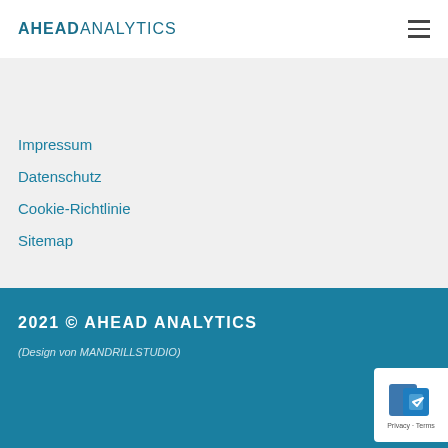AHEAD ANALYTICS
Blog
Impressum
Datenschutz
Cookie-Richtlinie
Sitemap
[Figure (other): Social media icons: Facebook, Twitter, Pinterest, LinkedIn, Xing, Telegram]
2021 © AHEAD ANALYTICS
(Design von MANDRILLSTUDIO)